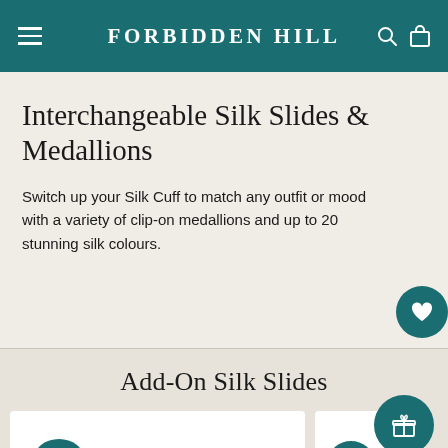FORBIDDEN HILL
Interchangeable Silk Slides & Medallions
Switch up your Silk Cuff to match any outfit or mood with a variety of clip-on medallions and up to 20 stunning silk colours.
Add-On Silk Slides